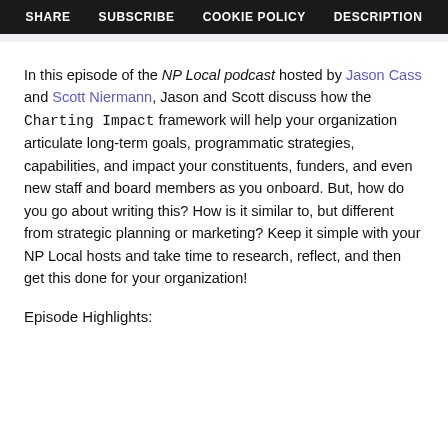SHARE   SUBSCRIBE   COOKIE POLICY   DESCRIPTION
In this episode of the NP Local podcast hosted by Jason Cass and Scott Niermann, Jason and Scott discuss how the Charting Impact framework will help your organization articulate long-term goals, programmatic strategies, capabilities, and impact your constituents, funders, and even new staff and board members as you onboard. But, how do you go about writing this? How is it similar to, but different from strategic planning or marketing? Keep it simple with your NP Local hosts and take time to research, reflect, and then get this done for your organization!
Episode Highlights: